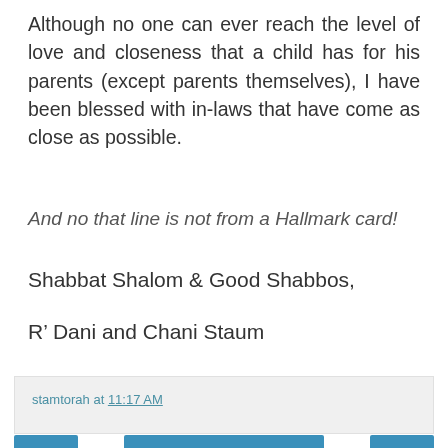Although no one can ever reach the level of love and closeness that a child has for his parents (except parents themselves), I have been blessed with in-laws that have come as close as possible.
And no that line is not from a Hallmark card!
Shabbat Shalom & Good Shabbos,
R’ Dani and Chani Staum
stamtorah at 11:17 AM
Home
View web version
About Me